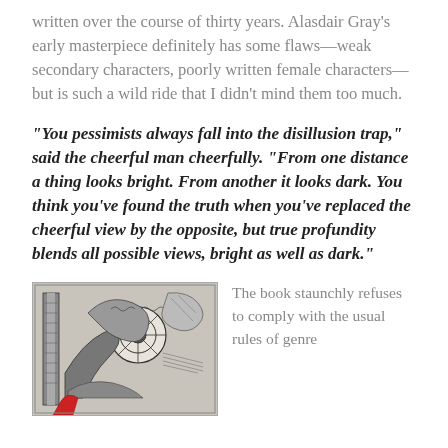written over the course of thirty years. Alasdair Gray's early masterpiece definitely has some flaws—weak secondary characters, poorly written female characters—but is such a wild ride that I didn't mind them too much.
“You pessimists always fall into the disillusion trap,” said the cheerful man cheerfully. “From one distance a thing looks bright. From another it looks dark. You think you’ve found the truth when you’ve replaced the cheerful view by the opposite, but true profundity blends all possible views, bright as well as dark.”
[Figure (illustration): Black and white detailed illustration showing fantastical figures, appears to be a book cover detail with intricate pen-and-ink style artwork]
The book staunchly refuses to comply with the usual rules of genre